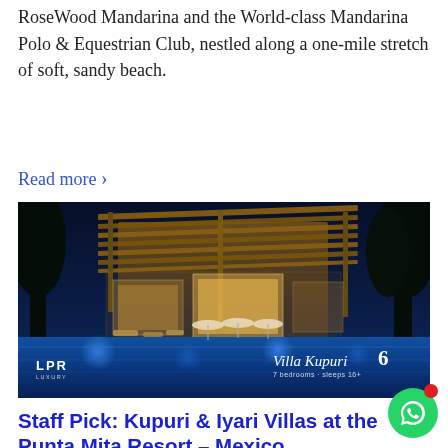RoseWood Mandarina and the World-class Mandarina Polo & Equestrian Club, nestled along a one-mile stretch of soft, sandy beach.
Read more ›
[Figure (photo): Nighttime luxury villa photo showing Villa Kupuri 6 with illuminated pool, pergola roof, and tropical architecture. LPR Luxury logo in bottom left.]
Staff Pick: Kupuri & Iyari Villas at the Punta Mita Resort – Mexico
There are gorgeous new homes to see at the Punta Mita Resort! Have a look at the new custom dream home construction at Kupu...